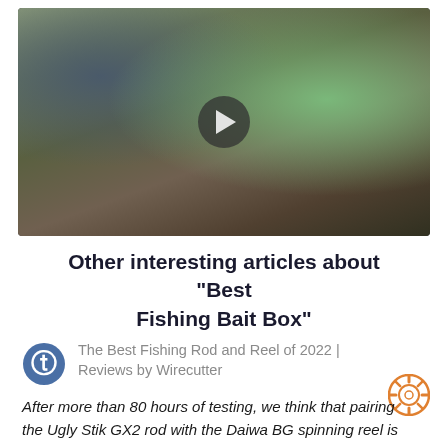[Figure (photo): Video thumbnail showing a man in a blue t-shirt looking into and reaching into an open green fishing tackle box on a table outdoors. A play button overlay is visible in the center. Background shows a patio, lawn, and pond.]
Other interesting articles about "Best Fishing Bait Box"
The Best Fishing Rod and Reel of 2022 | Reviews by Wirecutter
After more than 80 hours of testing, we think that pairing the Ugly Stik GX2 rod with the Daiwa BG spinning reel is